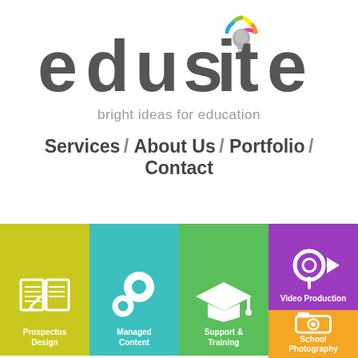[Figure (logo): Edusite logo with lightbulb icon replacing the 'i' in 'edusite', colorful segmented bulb top, grey text]
bright ideas for education
Services / About Us / Portfolio / Contact
[Figure (infographic): Four colored service tiles: yellow (Prospectus Design), teal (Managed Content), green (Support & Training), purple (Video Production), orange (School Photography), each with white icon]
Prospectus Design
Managed Content
Support & Training
Video Production
School Photography